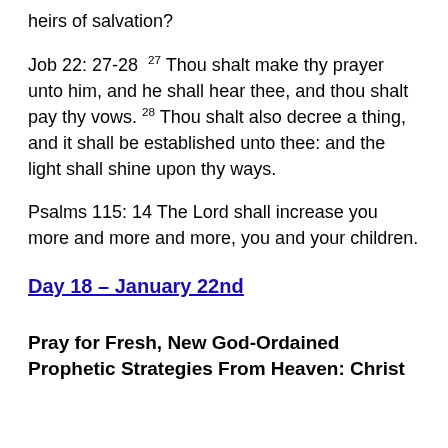heirs of salvation?
Job 22: 27-28  27 Thou shalt make thy prayer unto him, and he shall hear thee, and thou shalt pay thy vows. 28 Thou shalt also decree a thing, and it shall be established unto thee: and the light shall shine upon thy ways.
Psalms 115: 14 The Lord shall increase you more and more and more, you and your children.
Day 18 – January 22nd
Pray for Fresh, New God-Ordained Prophetic Strategies From Heaven: Christ